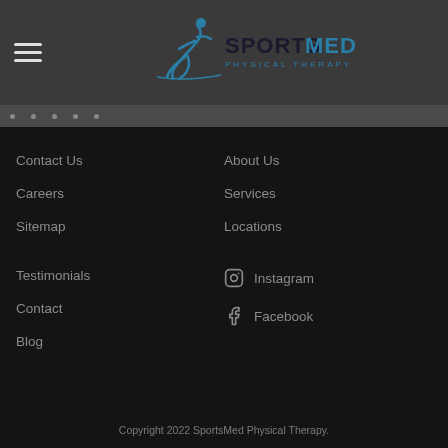[Figure (logo): SportsMed Physical Therapy logo with a running figure and teal/dark blue wordmark]
Contact Us
Careers
Sitemap
Testimonials
Contact
Blog
About Us
Services
Locations
Instagram
Facebook
Copyright 2022 SportsMed Physical Therapy.